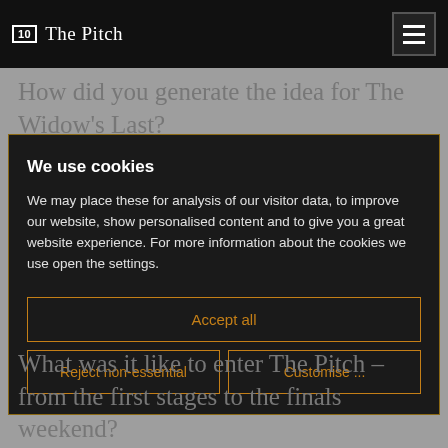10 The Pitch
How did you generate the idea for The Widow's Last?
We use cookies
We may place these for analysis of our visitor data, to improve our website, show personalised content and to give you a great website experience. For more information about the cookies we use open the settings.
Accept all
Reject non-essential
Customise ...
What was it like to enter The Pitch – from the first stages to the finals weekend?